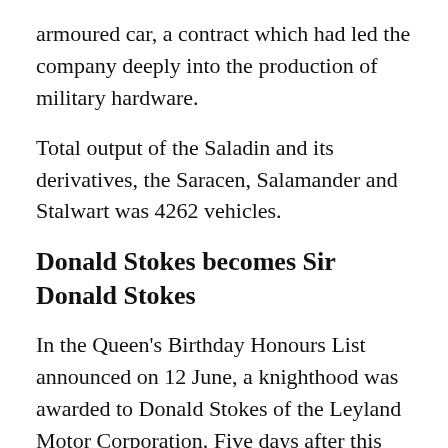armoured car, a contract which had led the company deeply into the production of military hardware.
Total output of the Saladin and its derivatives, the Saracen, Salamander and Stalwart was 4262 vehicles.
Donald Stokes becomes Sir Donald Stokes
In the Queen's Birthday Honours List announced on 12 June, a knighthood was awarded to Donald Stokes of the Leyland Motor Corporation. Five days after this Bower announced it had reached John